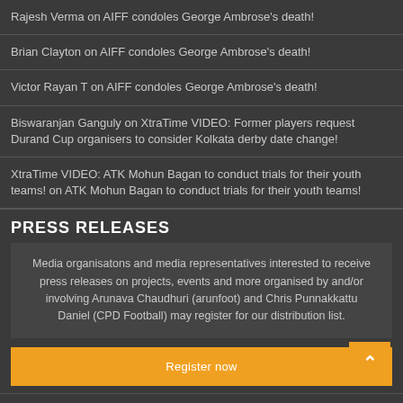Rajesh Verma on AIFF condoles George Ambrose's death!
Brian Clayton on AIFF condoles George Ambrose's death!
Victor Rayan T on AIFF condoles George Ambrose's death!
Biswaranjan Ganguly on XtraTime VIDEO: Former players request Durand Cup organisers to consider Kolkata derby date change!
XtraTime VIDEO: ATK Mohun Bagan to conduct trials for their youth teams! on ATK Mohun Bagan to conduct trials for their youth teams!
PRESS RELEASES
Media organisatons and media representatives interested to receive press releases on projects, events and more organised by and/or involving Arunava Chaudhuri (arunfoot) and Chris Punnakkattu Daniel (CPD Football) may register for our distribution list.
Register now
MORE INFO
About the Author – ARUNAVA CHAUDHURI